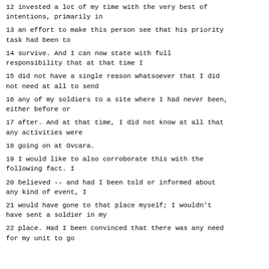12 invested a lot of my time with the very best of intentions, primarily in
13 an effort to make this person see that his priority task had been to
14 survive. And I can now state with full responsibility that at that time I
15 did not have a single reason whatsoever that I did not need at all to send
16 any of my soldiers to a site where I had never been, either before or
17 after. And at that time, I did not know at all that any activities were
18 going on at Ovcara.
19 I would like to also corroborate this with the following fact. I
20 believed -- and had I been told or informed about any kind of event, I
21 would have gone to that place myself; I wouldn't have sent a soldier in my
22 place. Had I been convinced that there was any need for my unit to go